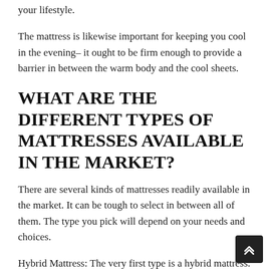your lifestyle.
The mattress is likewise important for keeping you cool in the evening– it ought to be firm enough to provide a barrier in between the warm body and the cool sheets.
WHAT ARE THE DIFFERENT TYPES OF MATTRESSES AVAILABLE IN THE MARKET?
There are several kinds of mattresses readily available in the market. It can be tough to select in between all of them. The type you pick will depend on your needs and choices.
Hybrid Mattress: The very first type is a hybrid mattress. These bed mattress integrate the qualiti of latex and memory foam mattresses with the goal